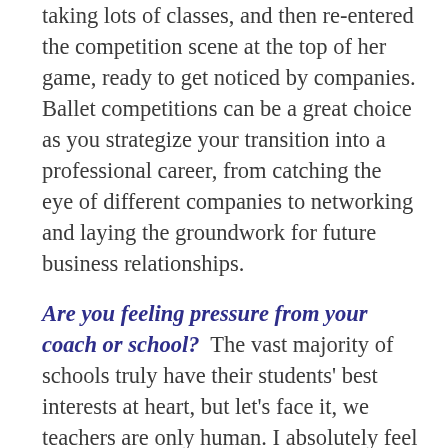taking lots of classes, and then re-entered the competition scene at the top of her game, ready to get noticed by companies. Ballet competitions can be a great choice as you strategize your transition into a professional career, from catching the eye of different companies to networking and laying the groundwork for future business relationships.
Are you feeling pressure from your coach or school?  The vast majority of schools truly have their students' best interests at heart, but let's face it, we teachers are only human. I absolutely feel like a proud dance mama when one of the dancers I